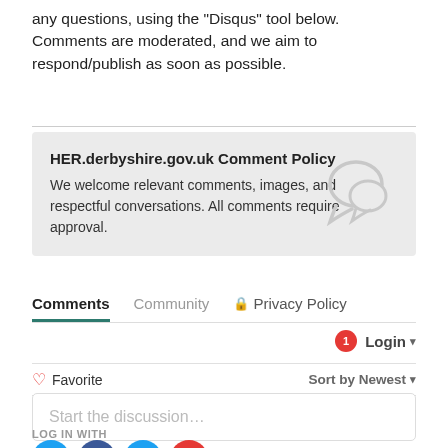any questions, using the "Disqus" tool below. Comments are moderated, and we aim to respond/publish as soon as possible.
HER.derbyshire.gov.uk Comment Policy
We welcome relevant comments, images, and respectful conversations. All comments require approval.
Comments  Community  🔒 Privacy Policy
1  Login ▾
♡ Favorite  Sort by Newest ▾
Start the discussion...
LOG IN WITH